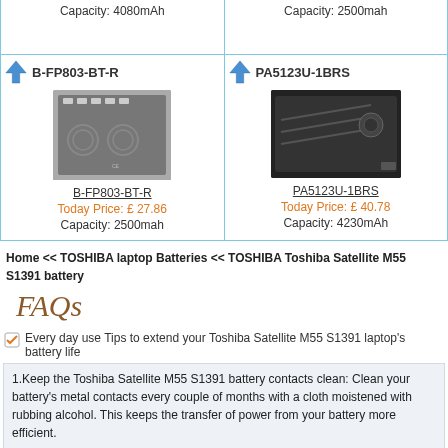Capacity: 4080mAh
Capacity: 2500mah
B-FP803-BT-R
[Figure (photo): Photo of B-FP803-BT-R battery]
B-FP803-BT-R
Today Price: £ 27.86
Capacity: 2500mah
PA5123U-1BRS
[Figure (photo): Photo of PA5123U-1BRS battery]
PA5123U-1BRS
Today Price: £ 40.78
Capacity: 4230mAh
Home << TOSHIBA laptop Batteries << TOSHIBA Toshiba Satellite M55 S1391 battery
FAQs
Every day use Tips to extend your Toshiba Satellite M55 S1391 laptop's battery life
1.Keep the Toshiba Satellite M55 S1391 battery contacts clean: Clean your battery's metal contacts every couple of months with a cloth moistened with rubbing alcohol. This keeps the transfer of power from your battery more efficient.